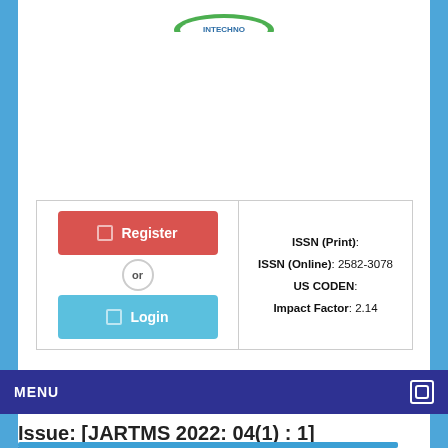[Figure (logo): InTechno journal logo at top center of page]
ISSN (Print):
ISSN (Online): 2582-3078
US CODEN:
Impact Factor: 2.14
MENU
Issue: [JARTMS 2022: 04(1) : 1]
There are no journals found in this issue